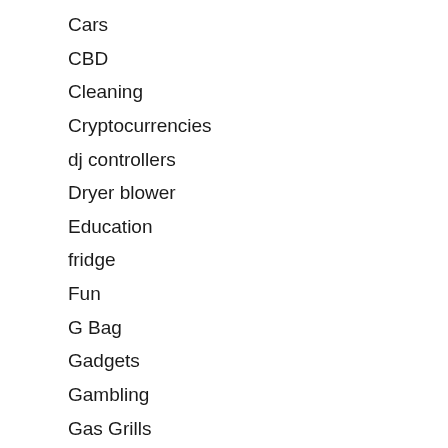Cars
CBD
Cleaning
Cryptocurrencies
dj controllers
Dryer blower
Education
fridge
Fun
G Bag
Gadgets
Gambling
Gas Grills
Health
Home